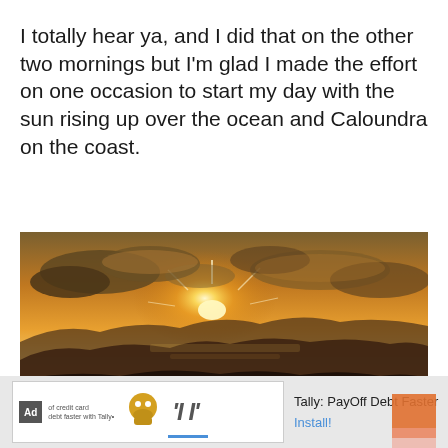I totally hear ya, and I did that on the other two mornings but I'm glad I made the effort on one occasion to start my day with the sun rising up over the ocean and Caloundra on the coast.
[Figure (photo): Sunrise photo showing sun rising over the ocean with dramatic orange and golden sky, silhouetted mountains/hills in foreground, clouds lit by sunrise]
[Figure (screenshot): Advertisement banner: Ad label, Tally PayOff Debt Faster app ad with Install button]